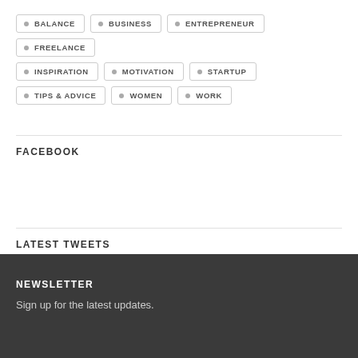BALANCE
BUSINESS
ENTREPRENEUR
FREELANCE
INSPIRATION
MOTIVATION
STARTUP
TIPS & ADVICE
WOMEN
WORK
FACEBOOK
LATEST TWEETS
No tweets
NEWSLETTER
Sign up for the latest updates.